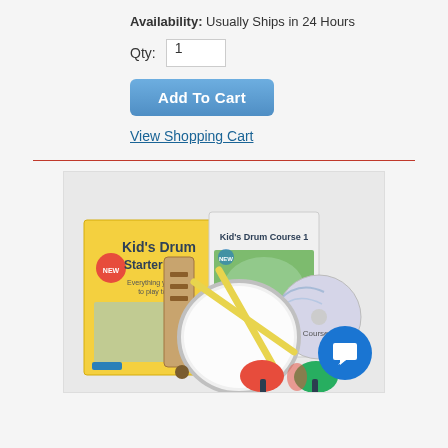Availability: Usually Ships in 24 Hours
Qty: 1
Add To Cart
View Shopping Cart
[Figure (photo): Kid's Drum Starter Pack product photo showing drums, drumsticks, maracas, wood block, and Kid's Drum Course 1 book with CD]